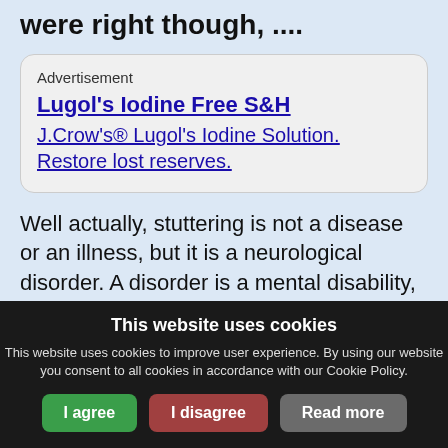were right though, ....
[Figure (other): Advertisement box with heading 'Lugol's Iodine Free S&H' and body text 'J.Crow's® Lugol's Iodine Solution. Restore lost reserves.']
Well actually, stuttering is not a disease or an illness, but it is a neurological disorder. A disorder is a mental disability, but stuttering can be successfully overcame. You were right though, Anna Deeter is in fact a
This website uses cookies
This website uses cookies to improve user experience. By using our website you consent to all cookies in accordance with our Cookie Policy.
I agree | I disagree | Read more